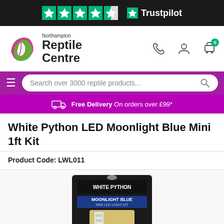[Figure (logo): Trustpilot rating bar with 4.5 stars on dark background]
[Figure (logo): Northampton Reptile Centre logo with stylized leaf icon and nav icons]
[Figure (screenshot): Purple search bar with hamburger menu and search field reading 'Search over 3000 reptile products...']
Free Delivery  On orders over £99*
White Python LED Moonlight Blue Mini 1ft Kit
Product Code: LWL011
[Figure (photo): White Python Moonlight Blue Mini LED Light Kit product packaging photo]